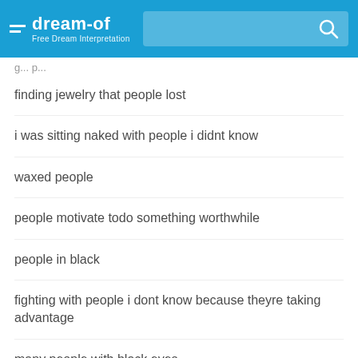dream-of — Free Dream Interpretation
finding jewelry that people lost
i was sitting naked with people i didnt know
waxed people
people motivate todo something worthwhile
people in black
fighting with people i dont know because theyre taking advantage
many people with black eyes
people lying on you
i was dreaming of my ex husband having a fight with people and they knocked off his long blonde wig
trying to get people attention